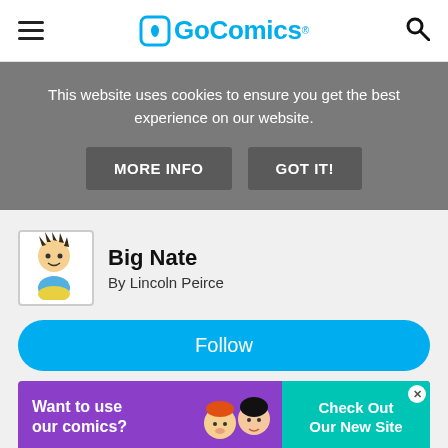GoComics
This website uses cookies to ensure you get the best experience on our website.
MORE INFO   GOT IT!
[Figure (illustration): Big Nate comic strip character thumbnail - boy with spiky hair]
Big Nate
By Lincoln Peirce
Follow
[Figure (infographic): Advertisement banner reading 'Want to use our comics? Check Out Our New Site' with cartoon characters on purple/teal background]
Report an ad
Report an ad